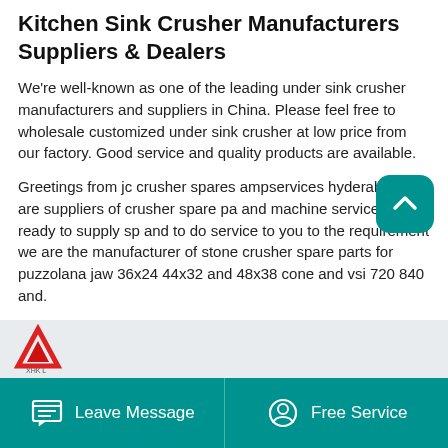Kitchen Sink Crusher Manufacturers Suppliers & Dealers
We're well-known as one of the leading under sink crusher manufacturers and suppliers in China. Please feel free to wholesale customized under sink crusher at low price from our factory. Good service and quality products are available.
Greetings from jc crusher spares ampservices hyderabad we are suppliers of crusher spare pa and machine service we are ready to supply sp and to do service to you to the requirement we are the manufacturer of stone crusher spare parts for puzzolana jaw 36x24 44x32 and 48x38 cone and vsi 720 840 and.
[Figure (logo): Preview strip with a red triangular logo (XHK) on a light gray background]
Leave Message   Free Service